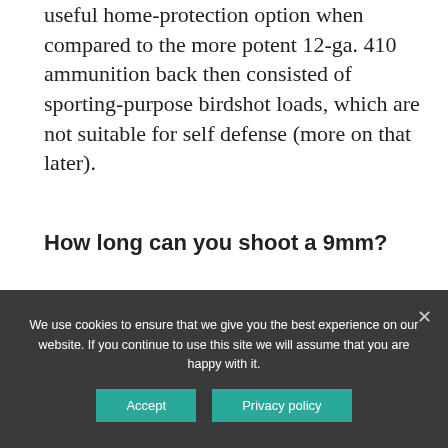useful home-protection option when compared to the more potent 12-ga. 410 ammunition back then consisted of sporting-purpose birdshot loads, which are not suitable for self defense (more on that later).
How long can you shoot a 9mm?
[Figure (infographic): OnlineDivorcer advertisement banner. Left side: OnlineDivorcer logo with icon and tagline 'DIVORCE MADE SIMPLE' with a 'GET STARTED' button. Right side: checklist items: COURT-APPROVED FORMS (highlighted cyan), $139 FOR ALL DOCUMENTS, FILING INSTRUCTIONS (highlighted cyan), 24/7 CUSTOMER SUPPORT.]
We use cookies to ensure that we give you the best experience on our website. If you continue to use this site we will assume that you are happy with it.
Accept  Privacy policy